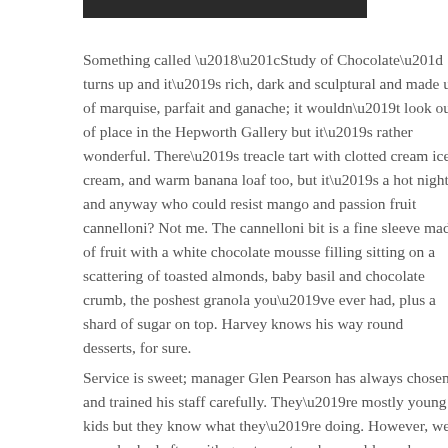Something called ‘“Study of Chocolate” turns up and it’s rich, dark and sculptural and made up of marquise, parfait and ganache; it wouldn’t look out of place in the Hepworth Gallery but it’s rather wonderful. There’s treacle tart with clotted cream ice cream, and warm banana loaf too, but it’s a hot night, and anyway who could resist mango and passion fruit cannelloni? Not me. The cannelloni bit is a fine sleeve made of fruit with a white chocolate mousse filling sitting on a scattering of toasted almonds, baby basil and chocolate crumb, the poshest granola you’ve ever had, plus a shard of sugar on top. Harvey knows his way round desserts, for sure.
Service is sweet; manager Glen Pearson has always chosen and trained his staff carefully. They’re mostly young kids but they know what they’re doing. However, we were looked after with great courtesy by an older, urbane Spanish chap. Where are you from? I asked,